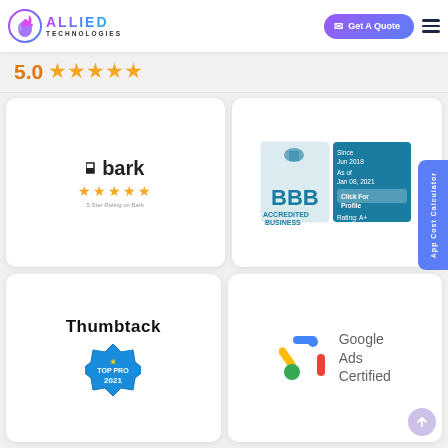[Figure (logo): Allied Technologies logo with flame icon and gradient text]
Get A Quote
5.0 ★★★★★
[Figure (logo): Bark logo with 5 star rating and text '5 Star Rating on Bark']
[Figure (logo): BBB Accredited Business seal, Rating A+, Since Jun 2018, As of Jan 08, 2021, Click For Profile, Rating: A+]
[Figure (logo): Thumbtack logo with Top Pro 2021 badge]
[Figure (logo): Google Ads Certified logo]
App Cost Calculator